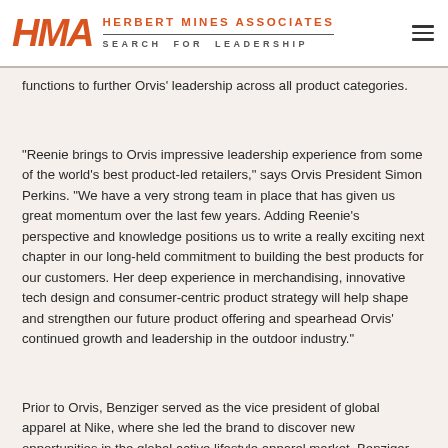HMA Herbert Mines Associates Search for Leadership
functions to further Orvis' leadership across all product categories.
"Reenie brings to Orvis impressive leadership experience from some of the world's best product-led retailers," says Orvis President Simon Perkins. "We have a very strong team in place that has given us great momentum over the last few years. Adding Reenie's perspective and knowledge positions us to write a really exciting next chapter in our long-held commitment to building the best products for our customers. Her deep experience in merchandising, innovative tech design and consumer-centric product strategy will help shape and strengthen our future product offering and spearhead Orvis' continued growth and leadership in the outdoor industry."
Prior to Orvis, Benziger served as the vice president of global apparel at Nike, where she led the brand to discover new opportunities in the global active lifestyle apparel market. Benziger brings over 20 years of executive and senior leadership experience in the apparel industry, and has served in various leadership roles at Nike, Pac Sun, and Gap throughout her career.